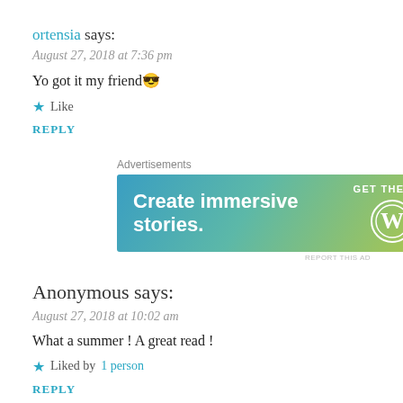ortensia says:
August 27, 2018 at 7:36 pm
Yo got it my friend 😎
Like
REPLY
[Figure (other): WordPress advertisement banner: 'Create immersive stories. GET THE APP' with WordPress logo]
Anonymous says:
August 27, 2018 at 10:02 am
What a summer ! A great read !
Liked by 1 person
REPLY